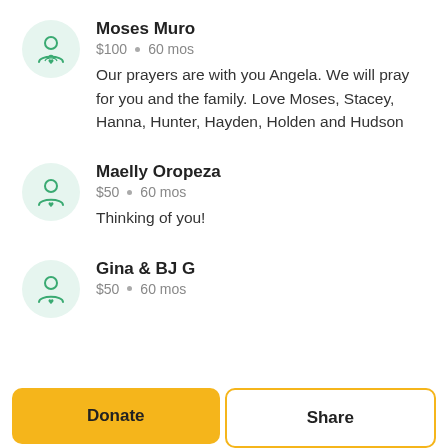Moses Muro
$100 • 60 mos
Our prayers are with you Angela. We will pray for you and the family. Love Moses, Stacey, Hanna, Hunter, Hayden, Holden and Hudson
Maelly Oropeza
$50 • 60 mos
Thinking of you!
Gina & BJ G
$50 • 60 mos